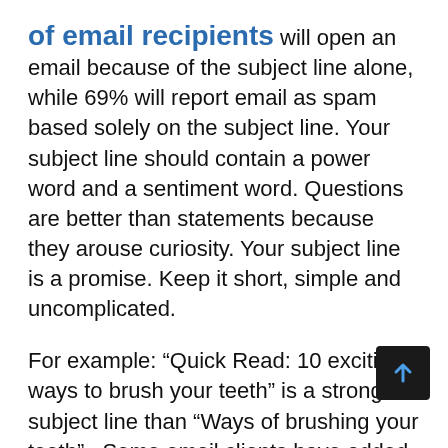of email recipients will open an email because of the subject line alone, while 69% will report email as spam based solely on the subject line. Your subject line should contain a power word and a sentiment word. Questions are better than statements because they arouse curiosity. Your subject line is a promise. Keep it short, simple and uncomplicated.
For example: “Quick Read: 10 exciting ways to brush your teeth” is a stronger subject line than “Ways of brushing your teeth”.  Some email clients have added the option of adding names to the subject line. This can be used to add warmth and personalisation. But you need to be careful with